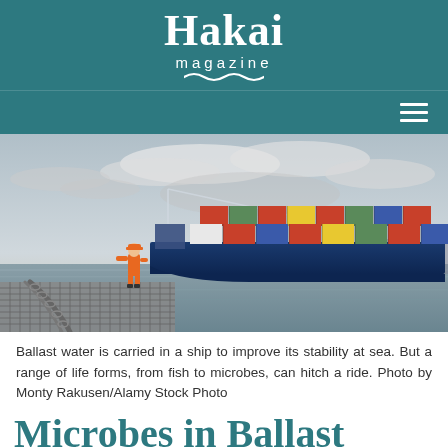Hakai magazine
[Figure (photo): A large blue container ship loaded with colorful shipping containers docked at a port. A worker in orange high-visibility gear stands on the dock in the foreground. Overcast sky with dramatic clouds. Industrial port infrastructure visible in the background.]
Ballast water is carried in a ship to improve its stability at sea. But a range of life forms, from fish to microbes, can hitch a ride. Photo by Monty Rakusen/Alamy Stock Photo
Microbes in Ballast Wat...